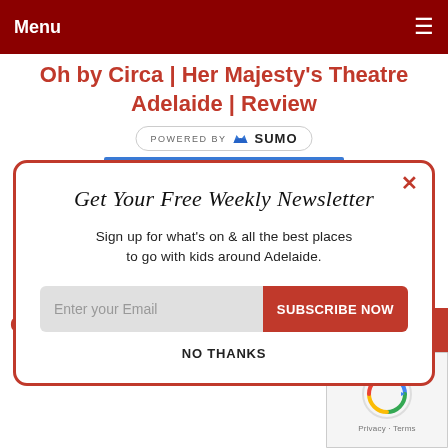Menu
Oh by Circa | Her Majesty's Theatre Adelaide | Review
[Figure (logo): Powered by SUMO badge with crown icon]
Get Your Free Weekly Newsletter
Sign up for what's on & all the best places to go with kids around Adelaide.
Enter your Email    SUBSCRIBE NOW
NO THANKS
Cap... Park – Hallett Cove | Review
[Figure (other): reCAPTCHA widget with Privacy and Terms links]